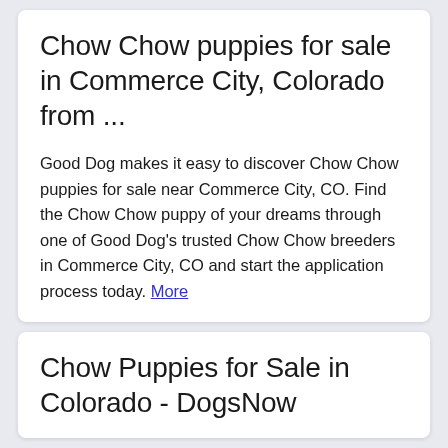Chow Chow puppies for sale in Commerce City, Colorado from ...
Good Dog makes it easy to discover Chow Chow puppies for sale near Commerce City, CO. Find the Chow Chow puppy of your dreams through one of Good Dog's trusted Chow Chow breeders in Commerce City, CO and start the application process today. More
Chow Puppies for Sale in Colorado - DogsNow
Find Chow dogs and puppies from Colorado breeders. It's also free to list your available